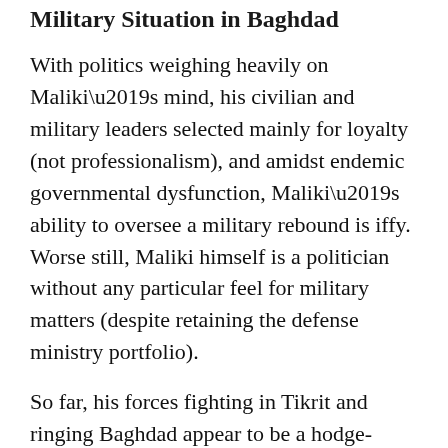Military Situation in Baghdad
With politics weighing heavily on Maliki’s mind, his civilian and military leaders selected mainly for loyalty (not professionalism), and amidst endemic governmental dysfunction, Maliki’s ability to oversee a military rebound is iffy. Worse still, Maliki himself is a politician without any particular feel for military matters (despite retaining the defense ministry portfolio).
So far, his forces fighting in Tikrit and ringing Baghdad appear to be a hodge-podge of army units and Shi’a militiamen (many of the latter who took up arms against Sunni Arabs, U.S. troops and Iraqi authorities in 2004-2008). West of Baghdad, a sizeable contingent of veteran Shi’a volunteers who fought alongside regime forces in the Syrian civil war have been deployed, perhaps the strongest